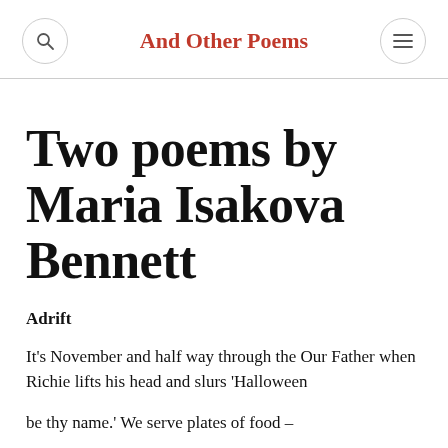And Other Poems
Two poems by Maria Isakova Bennett
Adrift
It's November and half way through the Our Father when Richie lifts his head and slurs 'Halloween
be thy name.' We serve plates of food –